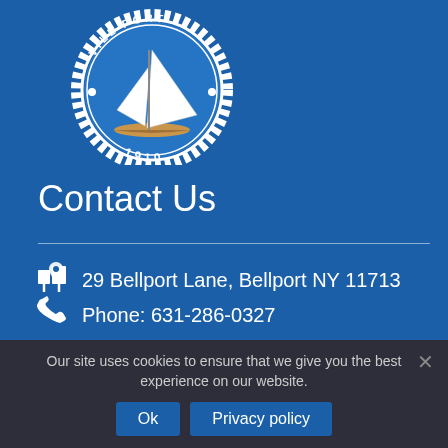[Figure (logo): Village of Bellport official seal — circular emblem with sailboat and text 'VILL... ...PORT' and '1910', white and blue on blue background]
Contact Us
29 Bellport Lane, Bellport NY 11713
Phone: 631-286-0327
Our site uses cookies to ensure that we give you the best experience on our website.
Ok   Privacy policy